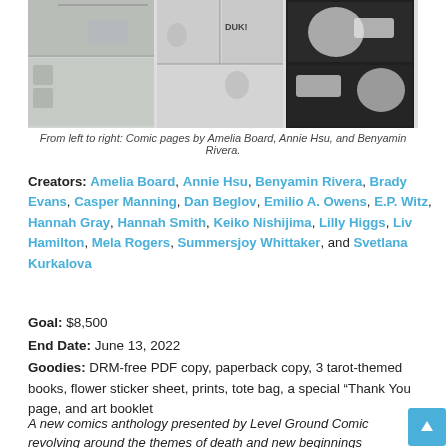[Figure (illustration): Three comic page panels shown side by side: left panel shows a room scene, middle panel shows a character with 'DUK!' text, right panel shows close-up figures with speech bubbles.]
From left to right: Comic pages by Amelia Board, Annie Hsu, and Benyamin Rivera.
Creators: Amelia Board, Annie Hsu, Benyamin Rivera, Brady Evans, Casper Manning, Dan Beglov, Emilio A. Owens, E.P. Witz, Hannah Gray, Hannah Smith, Keiko Nishijima, Lilly Higgs, Liv Hamilton, Mela Rogers, Summersjoy Whittaker, and Svetlana Kurkalova
Goal: $8,500
End Date: June 13, 2022
Goodies: DRM-free PDF copy, paperback copy, 3 tarot-themed books, flower sticker sheet, prints, tote bag, a special “Thank You page, and art booklet
A new comics anthology presented by Level Ground Comics revolving around the themes of death and new beginnings